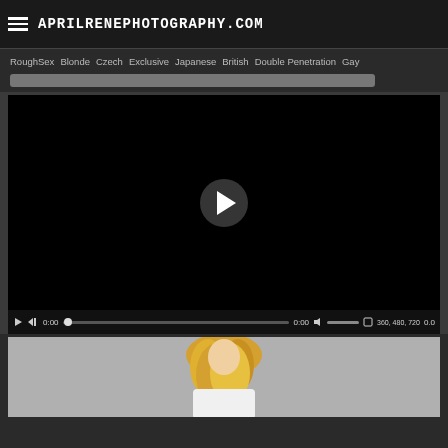APRILRENEPHOTOGRAPHY.COM
RoughSex  Blonde  Czech  Exclusive  Japanese  British  Double Penetration  Gay
[Figure (screenshot): Video player with black screen, play button in center, and video controls bar showing 0:00, progress bar, volume, quality options 360, 480, 720 and 0.0]
[Figure (photo): Partial thumbnail showing person with blonde hair wearing white clothing]